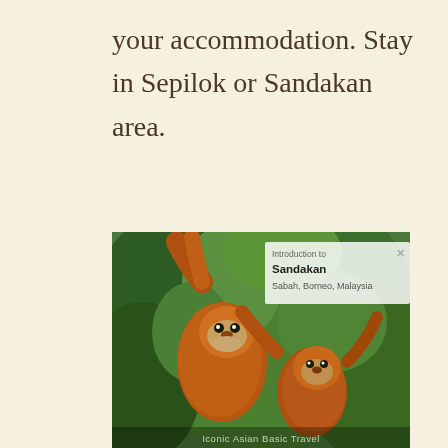your accommodation. Stay in Sepilok or Sandakan area.
[Figure (photo): Two orangutans hanging in a lush green tropical jungle setting. An overlay card reads 'Introduction to Sandakan, Sabah, Borneo, Malaysia' with a close button. A watermark reads 'Iconic Asian Basic Travel' at the bottom.]